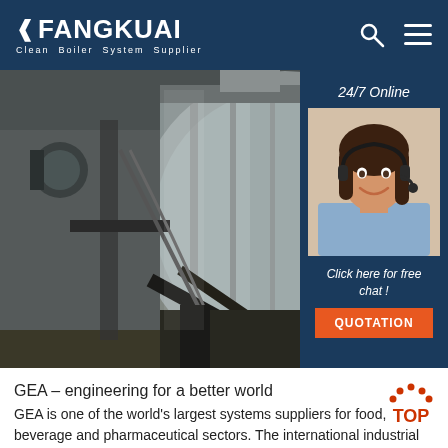FANGKUAI — Clean Boiler System Supplier
[Figure (photo): Industrial boiler equipment — large cylindrical steel boiler with pipes and fittings in a factory setting]
[Figure (photo): 24/7 Online customer service agent — woman wearing headset smiling, with 'Click here for free chat!' text and QUOTATION button on dark blue sidebar panel]
GEA – engineering for a better world
GEA is one of the world's largest systems suppliers for food, beverage and pharmaceutical sectors. The international industrial technology group specializes in machinery and plants as well as advanced process technology, components and comprehensive